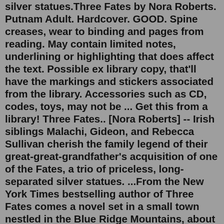silver statues.Three Fates by Nora Roberts. Putnam Adult. Hardcover. GOOD. Spine creases, wear to binding and pages from reading. May contain limited notes, underlining or highlighting that does affect the text. Possible ex library copy, that'll have the markings and stickers associated from the library. Accessories such as CD, codes, toys, may not be ... Get this from a library! Three Fates.. [Nora Roberts] -- Irish siblings Malachi, Gideon, and Rebecca Sullivan cherish the family legend of their great-great-grandfather's acquisition of one of the Fates, a trio of priceless, long-separated silver statues. ...From the New York Times bestselling author of Three Fates comes a novel set in a small town nestled in the Blue Ridge Mountains, about shattering loss and shocking discovery. When five-thousand-year-old human bones are found at a construction site in the small town of Woodsboro, the news draws archaeologist Callie Dunbrook out of her sabbatical ...Jul 01, 2021 · Now, nearly a century later, that heirloom, one of a priceless, long-separated set of three, has been